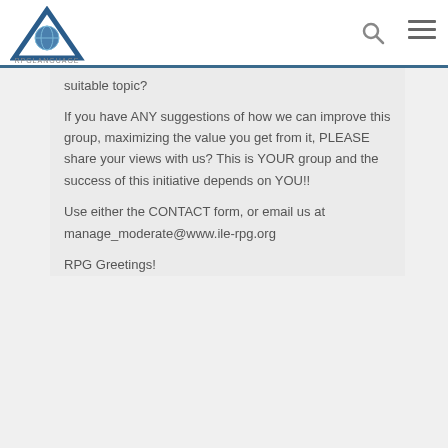[Figure (logo): RPGLanguage triangular logo with globe icon, dark blue triangle with text 'RPGLANGUAGE' below]
suitable topic?
If you have ANY suggestions of how we can improve this group, maximizing the value you get from it, PLEASE share your views with us? This is YOUR group and the success of this initiative depends on YOU!!
Use either the CONTACT form, or email us at manage_moderate@www.ile-rpg.org
RPG Greetings!